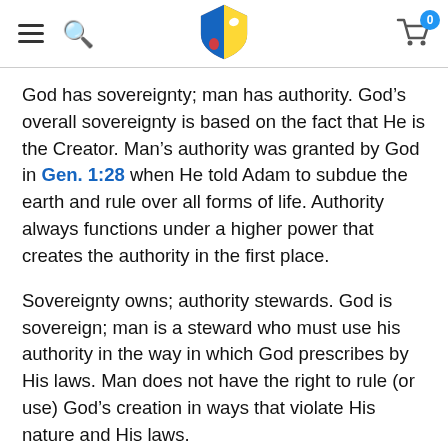[Navigation bar with hamburger menu, search icon, shield logo, and shopping cart with badge 0]
God has sovereignty; man has authority. God's overall sovereignty is based on the fact that He is the Creator. Man's authority was granted by God in Gen. 1:28 when He told Adam to subdue the earth and rule over all forms of life. Authority always functions under a higher power that creates the authority in the first place.
Sovereignty owns; authority stewards. God is sovereign; man is a steward who must use his authority in the way in which God prescribes by His laws. Man does not have the right to rule (or use) God's creation in ways that violate His nature and His laws.